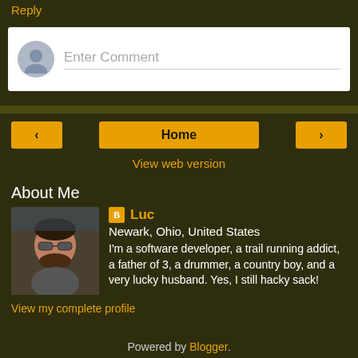Reply
[Figure (other): Comment input box with avatar placeholder and 'Enter Comment' placeholder text]
[Figure (other): Navigation bar with left arrow button, Home button, right arrow button, and View web version link]
About Me
[Figure (photo): Profile photo of Luc, a man wearing sunglasses sitting in a car]
Luc
Newark, Ohio, United States
I'm a software developer, a trail running addict, a father of 3, a drummer, a country boy, and a very lucky husband. Yes, I still hacky sack!
View my complete profile
Powered by Blogger.